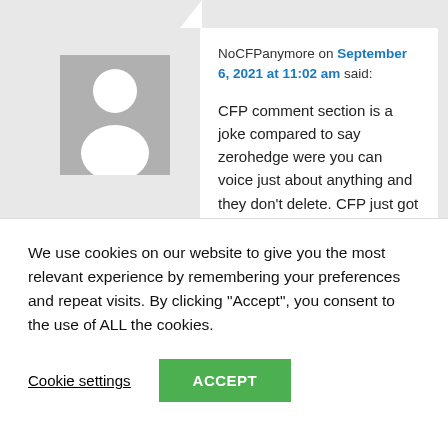[Figure (illustration): Default user avatar - gray square with white silhouette of a person]
NoCFPanymore on September 6, 2021 at 11:02 am said:
CFP comment section is a joke compared to say zerohedge were you can voice just about anything and they don't delete. CFP just got banned by youtube, but why are they even on that
We use cookies on our website to give you the most relevant experience by remembering your preferences and repeat visits. By clicking “Accept”, you consent to the use of ALL the cookies.
Cookie settings
ACCEPT